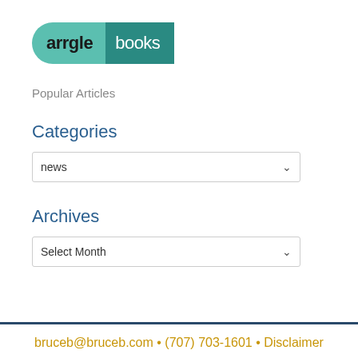[Figure (logo): arrgle books logo — pill-shaped badge with teal left half ('arrgle' in bold dark text) and darker teal right half ('books' in white text)]
Popular Articles
Categories
news (dropdown)
Archives
Select Month (dropdown)
bruceb@bruceb.com • (707) 703-1601 • Disclaimer